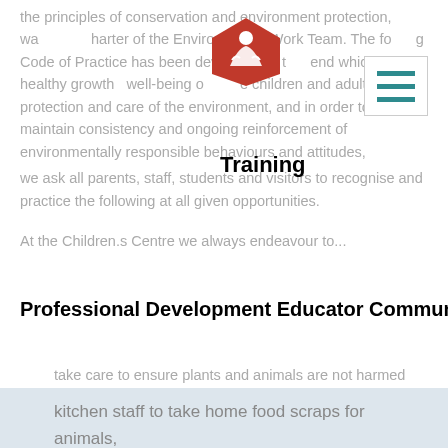the principles of conservation and environment protection, wa[logo]harter of the Environmental Work Team. The fo[logo]g Code of Practice has been developed to t[logo]end which, for the healthy growth well-being o[logo]e children and adults, for the protection and care of the environment, and in order to maintain consistency and ongoing reinforcement of environmentally responsible behaviours and attitudes,
[Figure (logo): Red pentagon badge with white figure/people icon - organization logo]
[Figure (other): Hamburger menu button with three teal horizontal bars on white background with border]
Training
Professional Development Educator Community
we ask all parents, staff, students and visitors to recognise and practice the following at all given opportunities.
At the Children.s Centre we always endeavour to...
Contact Us
Login
take care to ensure plants and animals are not harmed when playing outdoors,
plant predominantly native trees and shrubs in the garden,
kitchen staff to take home food scraps for animals,
empty water troughs onto garden beds,
sweep rather than hose down paths,
water gardens only in the early morning or late